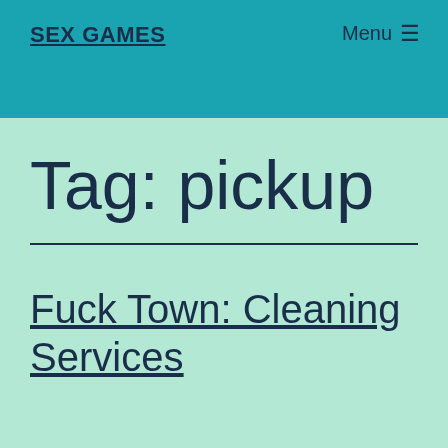SEX GAMES
Menu ≡
Tag: pickup
Fuck Town: Cleaning Services